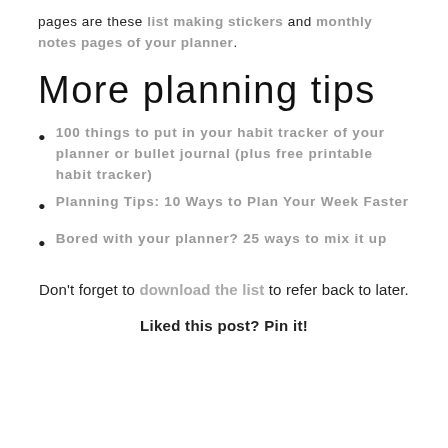pages are these list making stickers and monthly notes pages of your planner.
More planning tips
100 things to put in your habit tracker of your planner or bullet journal (plus free printable habit tracker)
Planning Tips: 10 Ways to Plan Your Week Faster
Bored with your planner? 25 ways to mix it up
Don't forget to download the list to refer back to later.
Liked this post? Pin it!